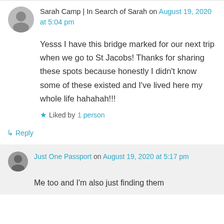Sarah Camp | In Search of Sarah on August 19, 2020 at 5:04 pm
Yesss I have this bridge marked for our next trip when we go to St Jacobs! Thanks for sharing these spots because honestly I didn't know some of these existed and I've lived here my whole life hahahah!!!
Liked by 1 person
Reply
Just One Passport on August 19, 2020 at 5:17 pm
Me too and I'm also just finding them